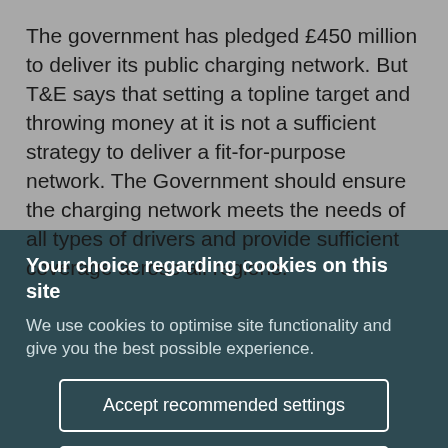The government has pledged £450 million to deliver its public charging network. But T&E says that setting a topline target and throwing money at it is not a sufficient strategy to deliver a fit-for-purpose network. The Government should ensure the charging network meets the needs of all types of drivers and provide sufficient coverage across all regions.
Your choice regarding cookies on this site
We use cookies to optimise site functionality and give you the best possible experience.
Accept recommended settings
Settings